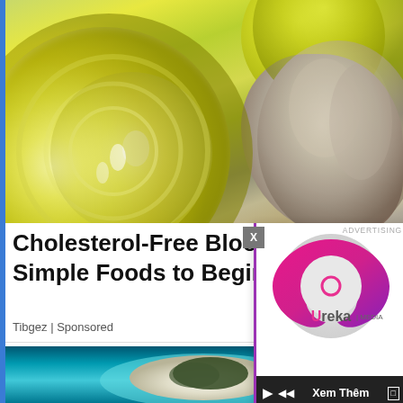[Figure (photo): Close-up photo of a halved lemon/grapefruit showing the inner flesh and seeds, with garlic cloves and a whole lime/lemon in the background on a dark surface]
Cholesterol-Free Blood Vessels:The Simple Foods to Begin With
Tibgez | Sponsored
[Figure (photo): Aerial view of a heart-shaped coral reef island surrounded by turquoise tropical water]
[Figure (logo): Ureka Media logo — circular pink/magenta swirl with 'Ureka | MEDIA' text — advertising overlay with X close button and video controls bar showing play, volume and 'Xem Thêm' (See More) button]